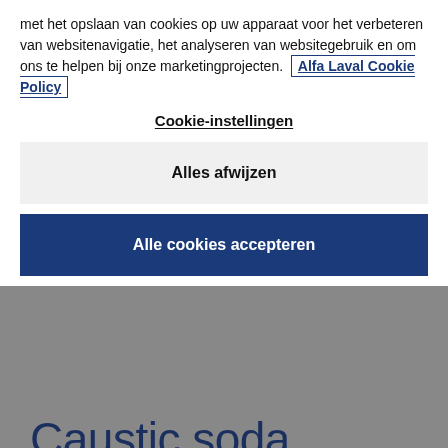met het opslaan van cookies op uw apparaat voor het verbeteren van websitenavigatie, het analyseren van websitegebruik en om ons te helpen bij onze marketingprojecten. Alfa Laval Cookie Policy
Cookie-instellingen
Alles afwijzen
Alle cookies accepteren
Caustic soda